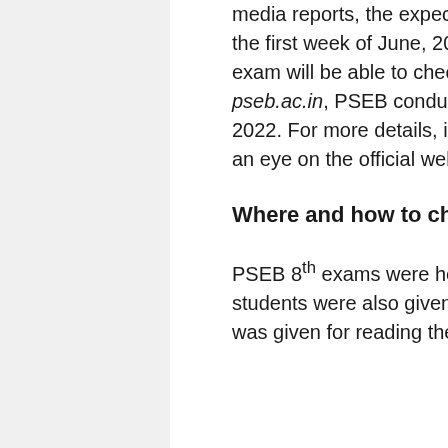media reports, the expected time at which the result will be declared is the first week of June, 2022. Students who have appeared for the exam will be able to check the results from the official website – pseb.ac.in, PSEB conducted the class 8 exams from April 07 to 28, 2022. For more details, it is advised that students and guardians keep an eye on the official website.
Where and how to check?
PSEB 8th exams were held for a duration of two hours. However, students were also given an additional time of 15 minutes. This time was given for reading the